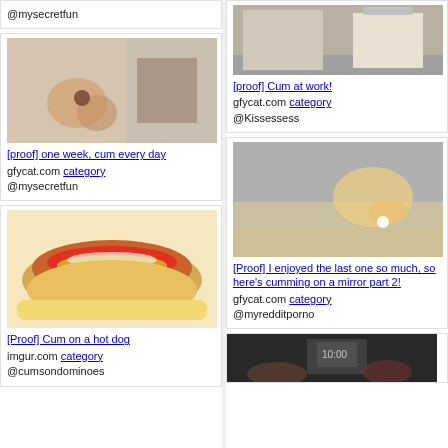@mysecretfun
[Figure (photo): Close-up photo of hands with paper/fabric]
[proof] one week, cum every day gfycat.com category @mysecretfun
[Figure (photo): Photo of a hot dog with condiments]
[Proof] Cum on a hot dog imgur.com category @cumsondominoes
[Figure (photo): Photo of a bed/room scene]
[proof] Cum at work! gfycat.com category @Kissessess
[Figure (photo): Close-up photo on mirror/reflective surface]
[Proof] I enjoyed the last one so much, so here's cumming on a mirror part 2! gfycat.com category @myredditporno
[Figure (photo): Dark photo with phone/device]